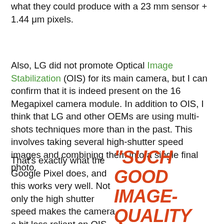what they could produce with a 23 mm sensor + 1.44 μm pixels.
Also, LG did not promote Optical Image Stabilization (OIS) for its main camera, but I can confirm that it is indeed present on the 16 Megapixel camera module. In addition to OIS, I think that LG and other OEMs are using multi-shots techniques more than in the past. This involves taking several high-shutter speed images and combining them into a single final photo.
That's exactly what the Google Pixel does, and this works very well. Not only the high shutter speed makes the camera a bit less reliant on OIS, but shooting
"SUCH GOOD IMAGE-QUALITY WITH THIS SMALL SENSOR BORDERS ON SORCERY"